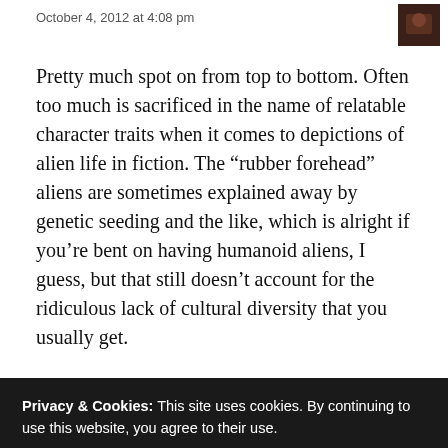October 4, 2012 at 4:08 pm
Pretty much spot on from top to bottom. Often too much is sacrificed in the name of relatable character traits when it comes to depictions of alien life in fiction. The “rubber forehead” aliens are sometimes explained away by genetic seeding and the like, which is alright if you’re bent on having humanoid aliens, I guess, but that still doesn’t account for the ridiculous lack of cultural diversity that you usually get.
Privacy & Cookies: This site uses cookies. By continuing to use this website, you agree to their use.
To find out more, including how to control cookies, see here:
Cookie Policy
Close and accept